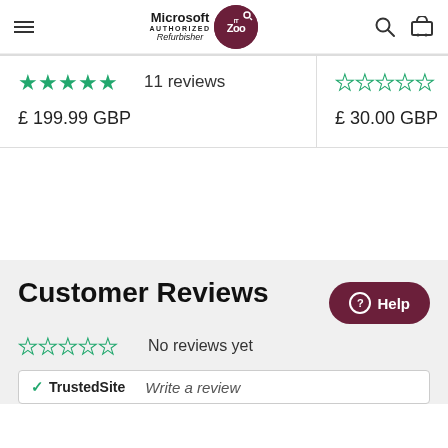Microsoft Authorized Refurbisher | IT Zoo — navigation header with hamburger menu, logo, search and cart icons
★★★★★ 11 reviews
£ 199.99 GBP
☆☆☆☆☆ (no rating)
£ 30.00 GBP
Customer Reviews
☆☆☆☆☆ No reviews yet
TrustedSite  Write a review